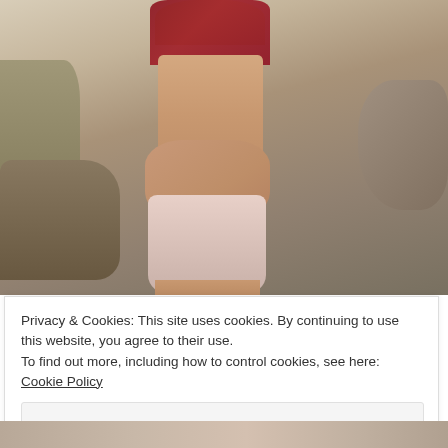[Figure (photo): Outdoor photo of a young woman with blonde hair in a red crop top and pink/white shorts, posed in a desert/rocky landscape with dry brush in the background. Upper body and torso visible, arms crossed at waist.]
Privacy & Cookies: This site uses cookies. By continuing to use this website, you agree to their use.
To find out more, including how to control cookies, see here: Cookie Policy
Close and accept
[Figure (photo): Partial view of another outdoor photo at the bottom of the page, partially cropped.]